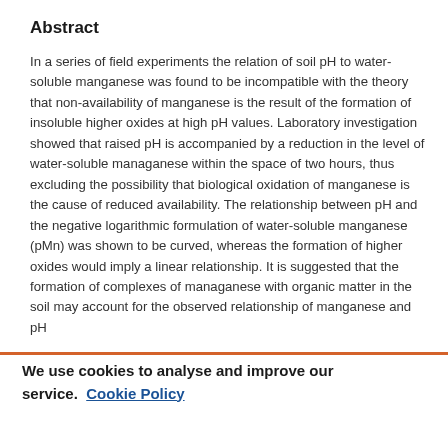Abstract
In a series of field experiments the relation of soil pH to water-soluble manganese was found to be incompatible with the theory that non-availability of manganese is the result of the formation of insoluble higher oxides at high pH values. Laboratory investigation showed that raised pH is accompanied by a reduction in the level of water-soluble managanese within the space of two hours, thus excluding the possibility that biological oxidation of manganese is the cause of reduced availability. The relationship between pH and the negative logarithmic formulation of water-soluble manganese (pMn) was shown to be curved, whereas the formation of higher oxides would imply a linear relationship. It is suggested that the formation of complexes of managanese with organic matter in the soil may account for the observed relationship of manganese and pH
We use cookies to analyse and improve our service. Cookie Policy